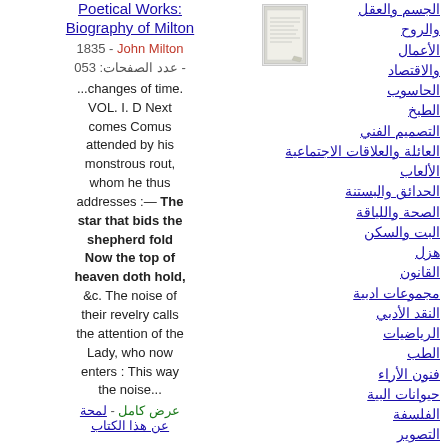Poetical Works: Biography of Milton
1835 - John Milton
عدد الصفحات: 350 -
...changes of time. VOL. I. D Next comes Comus attended by his monstrous rout, whom he thus addresses :— The star that bids the shepherd fold Now the top of heaven doth hold, &c. The noise of their revelry calls the attention of the Lady, who now enters : This way the noise...
عرض كامل - لمحة عن هذا الكتاب
الجسم والعقل
والروح
الأعمال
والاقتصاد
الحاسوب
الطبخ
التصميم الفني
العائلة والعلاقات الاجتماعية
الألعاب
الحدائق والبستنة
الصحة واللياقة
البت والسكن
هزل
القانون
مجموعات ادبية
النقد الأدبي
الرياضيات
الطب
فنون الأراء
حيوانات البية
الفلسفة
التصوير